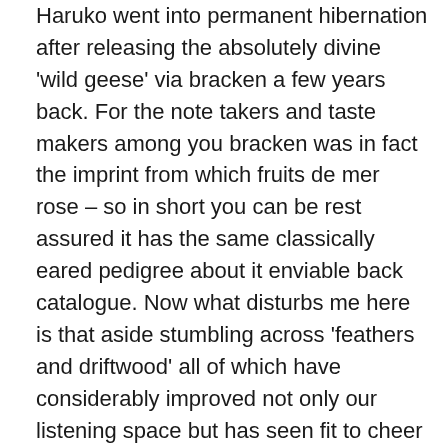Haruko went into permanent hibernation after releasing the absolutely divine 'wild geese' via bracken a few years back. For the note takers and taste makers among you bracken was in fact the imprint from which fruits de mer rose – so in short you can be rest assured it has the same classically eared pedigree about it enviable back catalogue. Now what disturbs me here is that aside stumbling across 'feathers and driftwood' all of which have considerably improved not only our listening space but has seen fit to cheer us up no end we've also noted with a sense of depressing embarrassment another EP of hers issued way back in 2011 entitled 'bird in the snow'. For the uninitiated Haruko is German based musician Susanna Stanglow, the adopted non de plume essentially translating as 'spring child' is an apt moniker for one so dreamily cosy toed amid a dozing woodland landscape lilted in demurring folk flurries and the serene bathing of